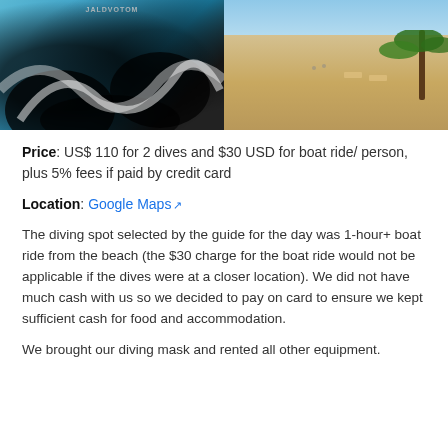[Figure (photo): Two photos side by side: left shows a close-up of a surfboard or diving board with black and white swirl design and a logo at top; right shows a sandy beach with chairs and palm trees on the right side.]
Price: US$ 110 for 2 dives and $30 USD for boat ride/ person, plus 5% fees if paid by credit card
Location: Google Maps
The diving spot selected by the guide for the day was 1-hour+ boat ride from the beach (the $30 charge for the boat ride would not be applicable if the dives were at a closer location). We did not have much cash with us so we decided to pay on card to ensure we kept sufficient cash for food and accommodation.
We brought our diving mask and rented all other equipment.